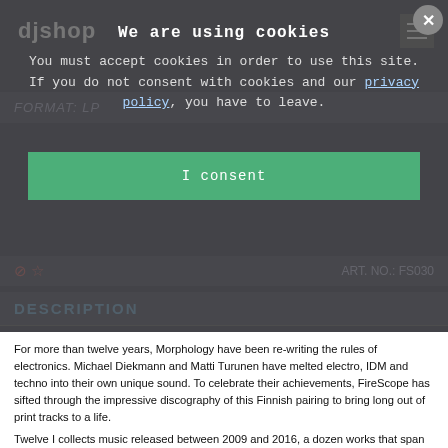djshop
FORMAT: LP
ART. NO.: FS030
DESCRIPTION
We are using cookies
You must accept cookies in order to use this site. If you do not consent with cookies and our privacy policy, you have to leave.
I consent
For more than twelve years, Morphology have been re-writing the rules of electronics. Michael Diekmann and Matti Turunen have melted electro, IDM and techno into their own unique sound. To celebrate their achievements, FireScope has sifted through the impressive discography of this Finnish pairing to bring long out of print tracks to a life.
Twelve I collects music released between 2009 and 2016, a dozen works that span labels like Abstract Forms, AC Records, Cultivated Electronics, diametric., Semantica, Stilleben and Vortex Traks. Opening with the cold love affair of "Manmade Woman," this collection brings together frosted floor funk, cerebral armchair electronics and a quality of composition that only Morphology can provide. Embedded in the album are outposts of electro menace, tracks with that extra bit of bite such as "Dementia" and "Dalek Invasion. Deep and thought-provoking pieces abound, such as the otherworldly dreamscapes of "Magellan Probe" and "Moebius Strip" which were first heard on Arne Weinberg's diametric. An understated balance permeates the record, broad concepts are interwoven with subtle shifts to bring a timeless quality to pieces like "Spacetime Interval", "Europa" and "Plankton." A perfect expression of over a decade of work.
Not only does this double LP gather rare tracks never before heard together, but also each piece has been lovingly remastered to breath new life into these wonderful works. Twelve I celebrates the